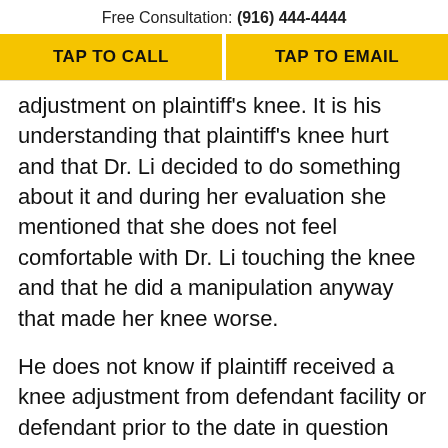Free Consultation: (916) 444-4444
TAP TO CALL
TAP TO EMAIL
adjustment on plaintiff's knee. It is his understanding that plaintiff's knee hurt and that Dr. Li decided to do something about it and during her evaluation she mentioned that she does not feel comfortable with Dr. Li touching the knee and that he did a manipulation anyway that made her knee worse.
He does not know if plaintiff received a knee adjustment from defendant facility or defendant prior to the date in question because that information is not written in the